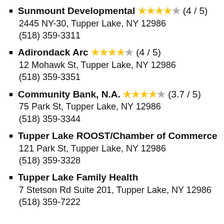Sunmount Developmental ★★★★★ (4 / 5)
2445 NY-30, Tupper Lake, NY 12986
(518) 359-3311
Adirondack Arc ★★★★★ (4 / 5)
12 Mohawk St, Tupper Lake, NY 12986
(518) 359-3351
Community Bank, N.A. ★★★★★ (3.7 / 5)
75 Park St, Tupper Lake, NY 12986
(518) 359-3344
Tupper Lake ROOST/Chamber of Commerce
121 Park St, Tupper Lake, NY 12986
(518) 359-3328
Tupper Lake Family Health
7 Stetson Rd Suite 201, Tupper Lake, NY 12986
(518) 359-7222